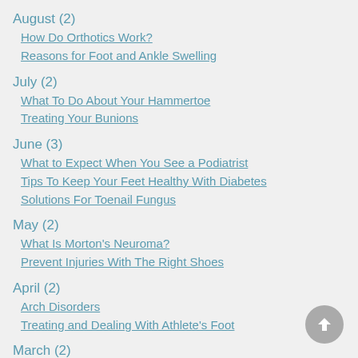August (2)
How Do Orthotics Work?
Reasons for Foot and Ankle Swelling
July (2)
What To Do About Your Hammertoe
Treating Your Bunions
June (3)
What to Expect When You See a Podiatrist
Tips To Keep Your Feet Healthy With Diabetes
Solutions For Toenail Fungus
May (2)
What Is Morton's Neuroma?
Prevent Injuries With The Right Shoes
April (2)
Arch Disorders
Treating and Dealing With Athlete's Foot
March (2)
Treating Tendon and Joint Pain